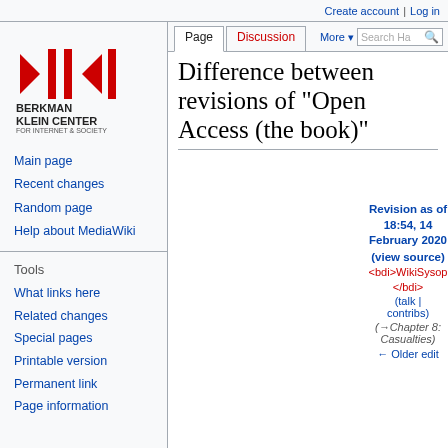Create account  Log in
[Figure (logo): Berkman Klein Center for Internet & Society at Harvard University logo — red arrows and vertical bars symbol above text]
Main page
Recent changes
Random page
Help about MediaWiki
Tools
What links here
Related changes
Special pages
Printable version
Permanent link
Page information
Difference between revisions of "Open Access (the book)"
Revision as of 18:54, 14 February 2020 (view source)
<bdi>WikiSysop</bdi> (talk | contribs)
(→Chapter 8: Casualties)
← Older edit
Revision as of 18:59, 14 February 2020 (view source)
<bdi>WikiSysop</bdi> (talk | contribs)
(→Chapter 8: Casualties)
Newer edit →